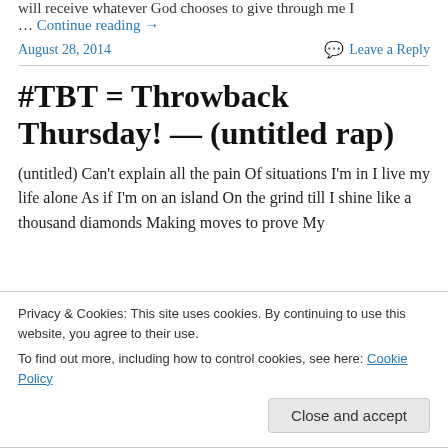will receive whatever God chooses to give through me I … Continue reading →
August 28, 2014
Leave a Reply
#TBT = Throwback Thursday! — (untitled rap)
(untitled) Can't explain all the pain Of situations I'm in I live my life alone As if I'm on an island On the grind till I shine like a thousand diamonds Making moves to prove My
Privacy & Cookies: This site uses cookies. By continuing to use this website, you agree to their use.
To find out more, including how to control cookies, see here: Cookie Policy
Close and accept